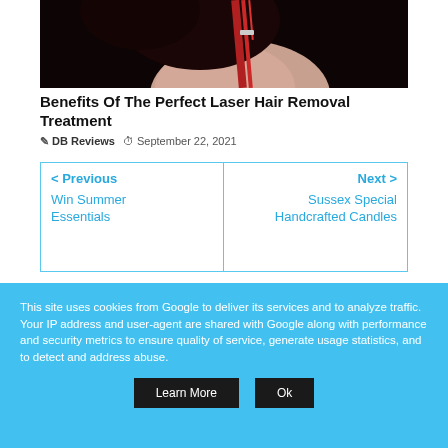[Figure (photo): Partial photo of a person with dark hair and red accessories against a dark background]
Benefits Of The Perfect Laser Hair Removal Treatment
DB Reviews  September 22, 2021
< Previous
Win Summer Essentials
Next >
Sussex Special Handcrafted Candles
This site uses cookies from Google to deliver its services and to analyze traffic. Your IP address and user-agent are shared with Google along with performance and security metrics to ensure quality of service, generate usage statistics, and to detect and address abuse.
Learn More    Ok